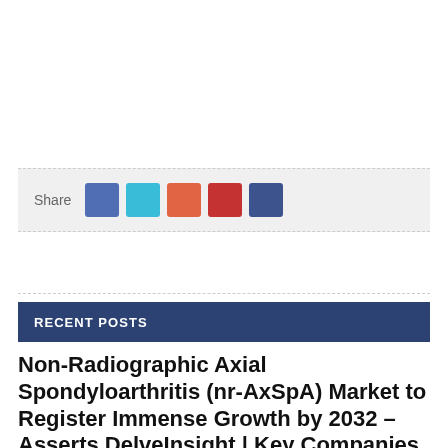[Figure (infographic): Share bar with social media icon buttons: Facebook (blue), Twitter (cyan), Google+ (orange-red), Pinterest (red), LinkedIn (dark blue)]
RECENT POSTS
Non-Radiographic Axial Spondyloarthritis (nr-AxSpA) Market to Register Immense Growth by 2032 – Asserts DelveInsight | Key Companies – UCB, Galapagos, Novartis, Sun Pharma, and Others